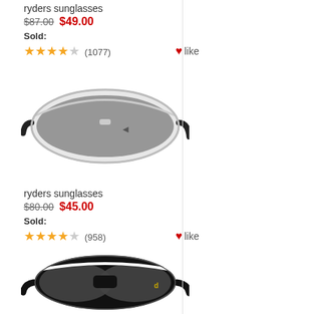ryders sunglasses
$87.00  $49.00
Sold:
★★★★☆ (1077)  ♥like
[Figure (photo): Ryders sport sunglasses with white frame and dark lenses, shield style]
ryders sunglasses
$80.00  $45.00
Sold:
★★★★☆ (958)  ♥like
[Figure (photo): Ryders sunglasses with black frame and dark lenses, wraparound style]